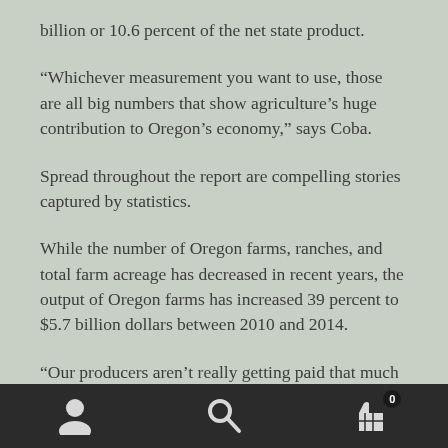billion or 10.6 percent of the net state product.
“Whichever measurement you want to use, those are all big numbers that show agriculture’s huge contribution to Oregon’s economy,” says Coba.
Spread throughout the report are compelling stories captured by statistics.
While the number of Oregon farms, ranches, and total farm acreage has decreased in recent years, the output of Oregon farms has increased 39 percent to $5.7 billion dollars between 2010 and 2014.
“Our producers aren’t really getting paid that much more
navigation bar with person, search, and cart icons